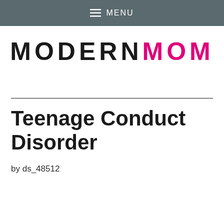MENU
[Figure (logo): MODERNMOM logo with MODERN in black and MOM in magenta/pink, bold uppercase letters with wide letter-spacing]
Teenage Conduct Disorder
by ds_48512